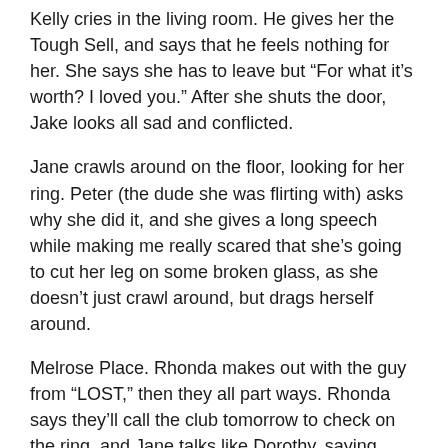Kelly cries in the living room. He gives her the Tough Sell, and says that he feels nothing for her. She says she has to leave but “For what it’s worth? I loved you.” After she shuts the door, Jake looks all sad and conflicted.
Jane crawls around on the floor, looking for her ring. Peter (the dude she was flirting with) asks why she did it, and she gives a long speech while making me really scared that she’s going to cut her leg on some broken glass, as she doesn’t just crawl around, but drags herself around.
Melrose Place. Rhonda makes out with the guy from “LOST,” then they all part ways. Rhonda says they’ll call the club tomorrow to check on the ring, and Jane talks like Dorothy, saying everything she wanted was here all along.
Jane walks inside her apartment to find an open bottle of